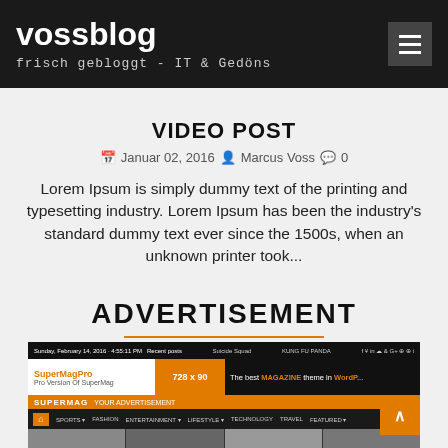vossblog — frisch gebloggt - IT & Gedöns
VIDEO POST
Januar 02, 2016   Marcus Voss   0
Lorem Ipsum is simply dummy text of the printing and typesetting industry. Lorem Ipsum has been the industry's standard dummy text ever since the 1500s, when an unknown printer took...
ADVERTISEMENT
[Figure (screenshot): Screenshot of SuperMagPro WordPress magazine theme with navigation bar, 728x90 banner placeholder, and photo content grid]